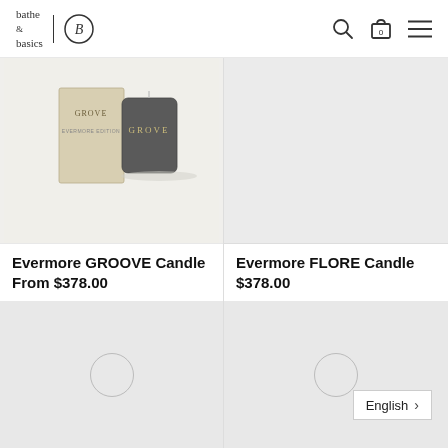bathe & basics — navigation header with logo, search, cart (0), and menu icons
[Figure (photo): Evermore GROOVE Candle product photo showing a dark grey glass candle and beige box packaging labeled GROVE, on a light background]
Evermore GROOVE Candle
From $378.00
[Figure (photo): Evermore FLORE Candle product image placeholder — light grey background with no product shown]
Evermore FLORE Candle
$378.00
[Figure (photo): Product image placeholder — light grey background with circular placeholder icon]
[Figure (photo): Product image placeholder — light grey background with circular placeholder icon]
English >